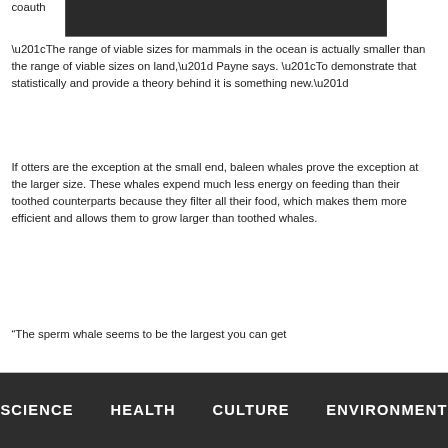coauth…
“The range of viable sizes for mammals in the ocean is actually smaller than the range of viable sizes on land,” Payne says. “To demonstrate that statistically and provide a theory behind it is something new.”
If otters are the exception at the small end, baleen whales prove the exception at the larger size. These whales expend much less energy on feeding than their toothed counterparts because they filter all their food, which makes them more efficient and allows them to grow larger than toothed whales.
“The sperm whale seems to be the largest you can get
SCIENCE   HEALTH   CULTURE   ENVIRONMENT